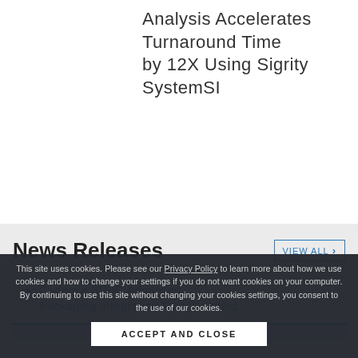Analysis Accelerates Turnaround Time by 12X Using Sigrity SystemSI
News Releases
Cadence 3D-IC Advanced Packaging Integration Flow Certified
This site uses cookies. Please see our Privacy Policy to learn more about how we use cookies and how to change your settings if you do not want cookies on your computer. By continuing to use this site without changing your cookies settings, you consent to the use of our cookies.
ACCEPT AND CLOSE